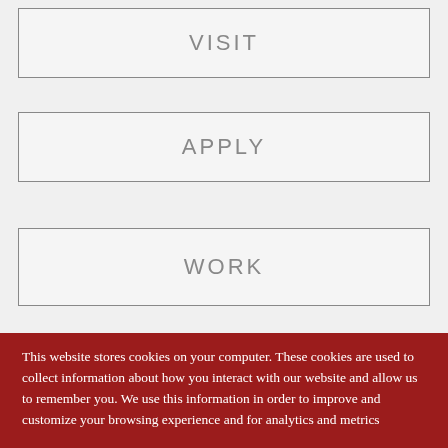VISIT
APPLY
WORK
This website stores cookies on your computer. These cookies are used to collect information about how you interact with our website and allow us to remember you. We use this information in order to improve and customize your browsing experience and for analytics and metrics